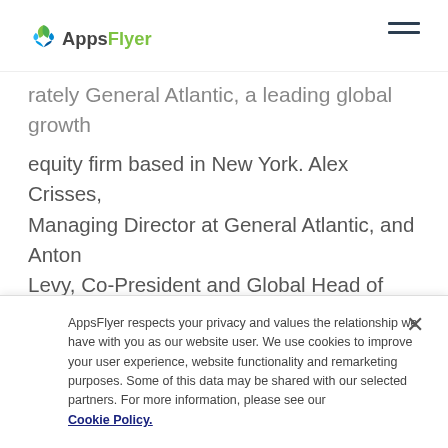AppsFlyer
...rately General Atlantic, a leading global growth equity firm based in New York. Alex Crisses, Managing Director at General Atlantic, and Anton Levy, Co-President and Global Head of Technology, have joined AppsFlyer's Board of Directors.
“We are excited to partner with a company that
AppsFlyer respects your privacy and values the relationship we have with you as our website user. We use cookies to improve your user experience, website functionality and remarketing purposes. Some of this data may be shared with our selected partners. For more information, please see our Cookie Policy.